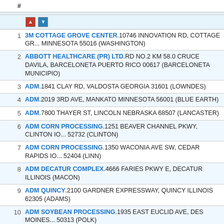| # | Facility / Address |
| --- | --- |
| 1 | 3M COTTAGE GROVE CENTER.10746 INNOVATION RD, COTTAGE GROVE MINNESOTA 55016 (WASHINGTON) |
| 2 | ABBOTT HEALTHCARE (PR) LTD.RD NO.2 KM 58.0 CRUCE DAVILA, BARCELONETA PUERTO RICO 00617 (BARCELONETA MUNICIPIO) |
| 3 | ADM.1841 CLAY RD, VALDOSTA GEORGIA 31601 (LOWNDES) |
| 4 | ADM.2019 3RD AVE, MANKATO MINNESOTA 56001 (BLUE EARTH) |
| 5 | ADM.7800 THAYER ST, LINCOLN NEBRASKA 68507 (LANCASTER) |
| 6 | ADM CORN PROCESSING.1251 BEAVER CHANNEL PKWY, CLINTON IOWA 52732 (CLINTON) |
| 7 | ADM CORN PROCESSING.1350 WACONIA AVE SW, CEDAR RAPIDS IOWA 52404 (LINN) |
| 8 | ADM DECATUR COMPLEX.4666 FARIES PKWY E, DECATUR ILLINOIS (MACON) |
| 9 | ADM QUINCY.2100 GARDNER EXPRESSWAY, QUINCY ILLINOIS 62305 (ADAMS) |
| 10 | ADM SOYBEAN PROCESSING.1935 EAST EUCLID AVE, DES MOINES IOWA 50313 (POLK) |
| 11 | ADVANSIX INC HOPEWELL PLANT.905 E RANDOLPH RD, HOPEWELL VIRGINIA 23860 (HOPEWELL (CITY)) |
| 12 | ADVANSIX RESINS & CHEMICALS LLC.2501 MARGARET, PHILADELPHIA |